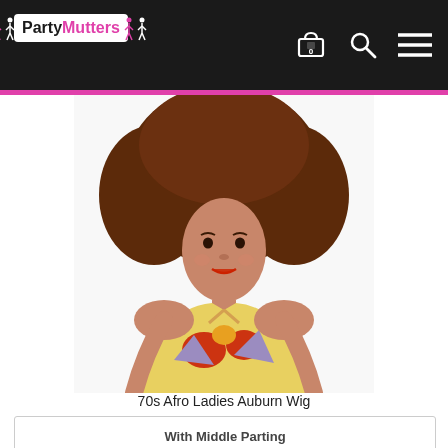PartyMutters - navigation bar with logo, cart, search, and menu icons
[Figure (photo): Woman wearing a 70s style auburn afro wig with a colorful 70s halter top outfit]
70s Afro Ladies Auburn Wig
With Middle Parting
£19.99
Details
[Figure (photo): Partial view of a red afro wig at the bottom of the page]